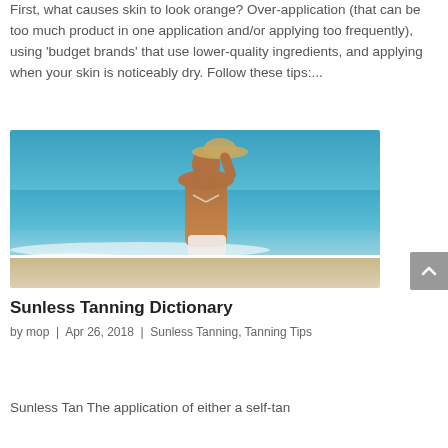First, what causes skin to look orange? Over-application (that can be too much product in one application and/or applying too frequently), using 'budget brands' that use lower-quality ingredients, and applying when your skin is noticeably dry. Follow these tips:...
[Figure (photo): A woman with a tan back wearing a white bikini and straw hat standing at the beach, facing the ocean. Blue sky and turquoise water visible in the background.]
Sunless Tanning Dictionary
by mop | Apr 26, 2018 | Sunless Tanning, Tanning Tips
Sunless Tan The application of either a self-tan